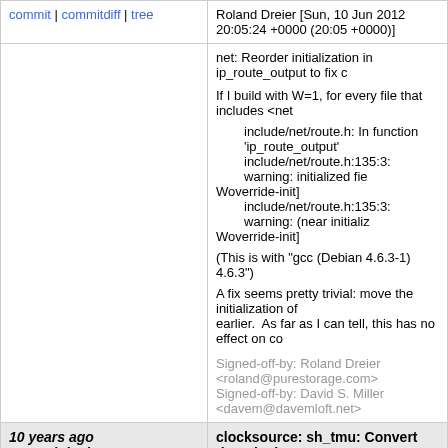commit | commitdiff | tree    Roland Dreier [Sun, 10 Jun 2012 20:05:24 +0000 (20:05 +0000)]
net: Reorder initialization in ip_route_output to fix

If I build with W=1, for every file that includes <net

    include/net/route.h: In function 'ip_route_output'
    include/net/route.h:135:3: warning: initialized fie
Woverride-init]
    include/net/route.h:135:3: warning: (near initializ
Woverride-init]

(This is with "gcc (Debian 4.6.3-1) 4.6.3")

A fix seems pretty trivial: move the initialization of
earlier.  As far as I can tell, this has no effect on co

Signed-off-by: Roland Dreier <roland@purestorage.com>
Signed-off-by: David S. Miller <davem@davemloft.net>
10 years ago
clocksource: sh_tmu: Convert timer lock to raw spinlock.
commit | commitdiff | tree    Paul Mundt [Fri, 25 May 2012 04:39:09 +0000 (13:39 +0900)]
clocksource: sh_tmu: Convert timer lock to raw sp